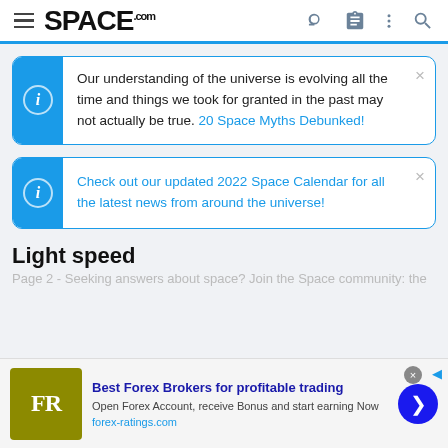SPACE.com
Our understanding of the universe is evolving all the time and things we took for granted in the past may not actually be true. 20 Space Myths Debunked!
Check out our updated 2022 Space Calendar for all the latest news from around the universe!
Light speed
Page 2 - Seeking answers about space? Join the Space community: the
[Figure (advertisement): FR logo (yellow-green background with FR in white serif font), Best Forex Brokers for profitable trading, Open Forex Account, receive Bonus and start earning Now, forex-ratings.com]
Best Forex Brokers for profitable trading